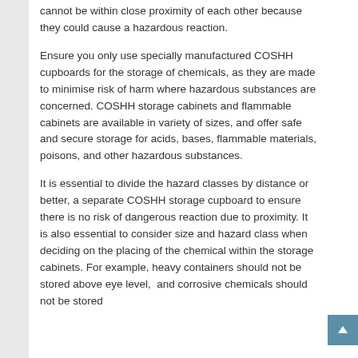cannot be within close proximity of each other because they could cause a hazardous reaction.
Ensure you only use specially manufactured COSHH cupboards for the storage of chemicals, as they are made to minimise risk of harm where hazardous substances are concerned. COSHH storage cabinets and flammable cabinets are available in variety of sizes, and offer safe and secure storage for acids, bases, flammable materials, poisons, and other hazardous substances.
It is essential to divide the hazard classes by distance or better, a separate COSHH storage cupboard to ensure there is no risk of dangerous reaction due to proximity. It is also essential to consider size and hazard class when deciding on the placing of the chemical within the storage cabinets. For example, heavy containers should not be stored above eye level,  and corrosive chemicals should not be stored